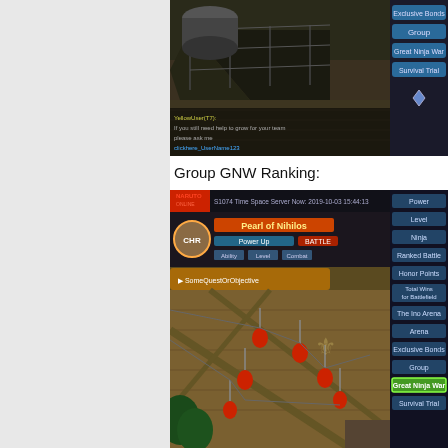[Figure (screenshot): Top screenshot of a Naruto online game showing an isometric view of a village area with menus on the right side including Exclusive Bonds, Group, Great Ninja War, Survival Trial buttons and a chat box at the bottom.]
Group GNW Ranking:
[Figure (screenshot): Bottom screenshot of a Naruto online game showing an isometric view of a village map with lanterns, server info at top (S1074 Time Space, Server Now: 2019-10-03 15:44:13), character info panel, and ranking menus on the right including Power, Level, Ninja, Ranked Battle, Honor Points, Total Wins for Battlefield, The Ino Arena, Arena, Exclusive Bonds, Group, Great Ninja War (highlighted), Survival Trial.]